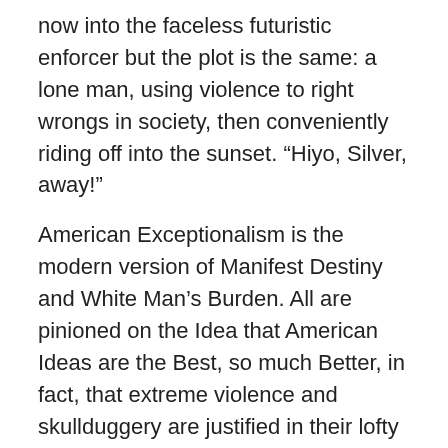now into the faceless futuristic enforcer but the plot is the same: a lone man, using violence to right wrongs in society, then conveniently riding off into the sunset. “Hiyo, Silver, away!”
American Exceptionalism is the modern version of Manifest Destiny and White Man’s Burden. All are pinioned on the Idea that American Ideas are the Best, so much Better, in fact, that extreme violence and skullduggery are justified in their lofty pursuit of a greater good only America the Beautiful can provide.
Well, where’s the beef? Where are the benefits this benevolent violence are supposed to provide? Stable governments, democracy, prosperity, pluralism, tolerance, human rights, rule of law, all that?
Shall we ask Afghanistan? Or Libya? Or Yemon? Or